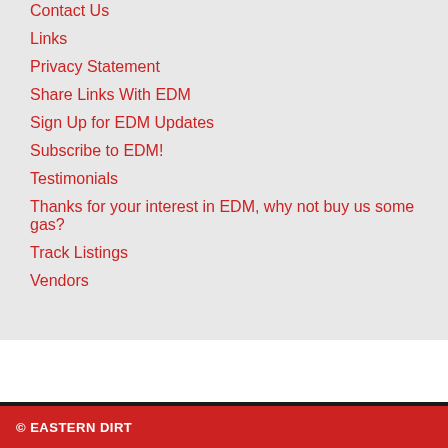Contact Us
Links
Privacy Statement
Share Links With EDM
Sign Up for EDM Updates
Subscribe to EDM!
Testimonials
Thanks for your interest in EDM, why not buy us some gas?
Track Listings
Vendors
© EASTERN DIRT